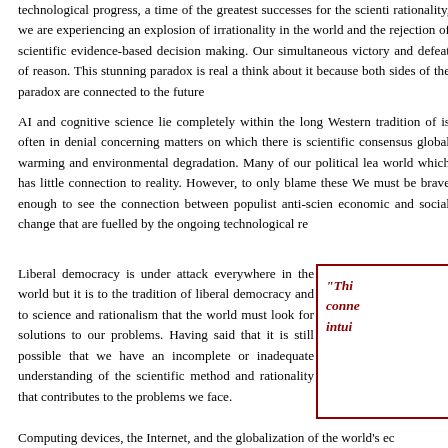technological progress, a time of the greatest successes for the scientific rationality, we are experiencing an explosion of irrationality in the world and the rejection of scientific evidence-based decision making. Our simultaneous victory and defeat of reason. This stunning paradox is real and think about it because both sides of the paradox are connected to the future of
AI and cognitive science lie completely within the long Western tradition of is often in denial concerning matters on which there is scientific consensus global warming and environmental degradation. Many of our political leaders world which has little connection to reality. However, to only blame these We must be brave enough to see the connection between populist anti-science economic and social change that are fuelled by the ongoing technological re
Liberal democracy is under attack everywhere in the world but it is to the tradition of liberal democracy and to science and rationalism that the world must look for solutions to our problems. Having said that it is still possible that we have an incomplete or inadequate understanding of the scientific method and rationality that contributes to the problems we face.
“This connected intui
Computing devices, the Internet, and the globalization of the world's eco